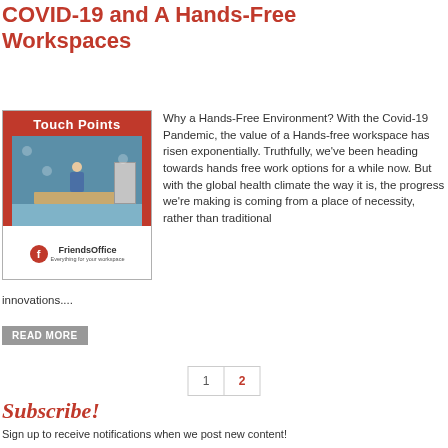COVID-19 and A Hands-Free Workspaces
[Figure (illustration): Touch Points branded image with FriendsOffice logo showing an office workspace illustration]
Why a Hands-Free Environment? With the Covid-19 Pandemic, the value of a Hands-free workspace has risen exponentially. Truthfully, we've been heading towards hands free work options for a while now. But with the global health climate the way it is, the progress we're making is coming from a place of necessity, rather than traditional innovations....
READ MORE
1  2
Subscribe!
Sign up to receive notifications when we post new content!